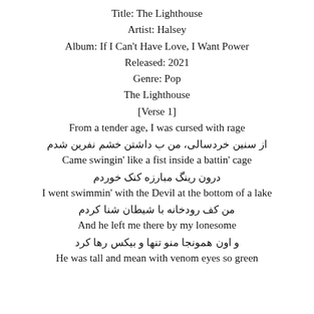Title: The Lighthouse
Artist: Halsey
Album: If I Can't Have Love, I Want Power
Released: 2021
Genre: Pop
The Lighthouse
[Verse 1]
From a tender age, I was cursed with rage
از سنین خردسالی، من ب داشتن خشم نفرین شدم
Came swingin' like a fist inside a battin' cage
درون رینگ مبارزه کنک خوردم
I went swimmin' with the Devil at the bottom of a lake
من کف رودخانه با شیطان شنا کردم
And he left me there by my lonesome
و اون همونجا منو تنها و بیکس رها کرد
He was tall and mean with venom eyes so green